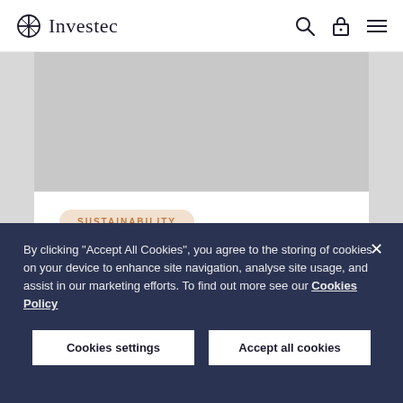Investec
[Figure (photo): Hero image area - partially visible, greyed out placeholder for an article image]
SUSTAINABILITY
4 Oct 2021
Building a better future for birds of
By clicking "Accept All Cookies", you agree to the storing of cookies on your device to enhance site navigation, analyse site usage, and assist in our marketing efforts. To find out more see our Cookies Policy
Cookies settings
Accept all cookies